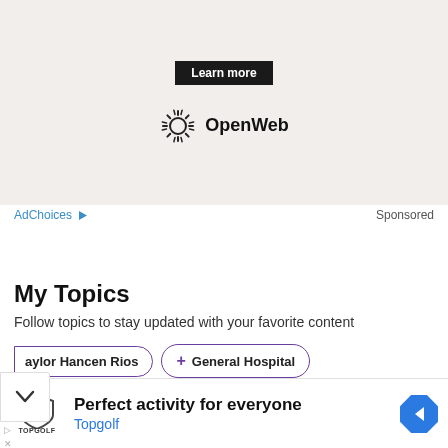[Figure (screenshot): Ad banner with Learn more button and OpenWeb logo on beige/light background]
AdChoices ▷   Sponsored
My Topics
Follow topics to stay updated with your favorite content
Taylor Hancen Rios   + General Hospital
[Figure (screenshot): Bottom advertisement: Topgolf logo, text 'Perfect activity for everyone', 'Topgolf' in blue, and a blue navigation arrow icon]